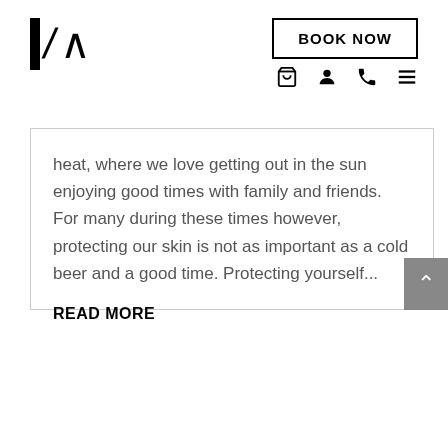Logo | BOOK NOW | nav icons
heat, where we love getting out in the sun enjoying good times with family and friends. For many during these times however, protecting our skin is not as important as a cold beer and a good time. Protecting yourself...
READ MORE